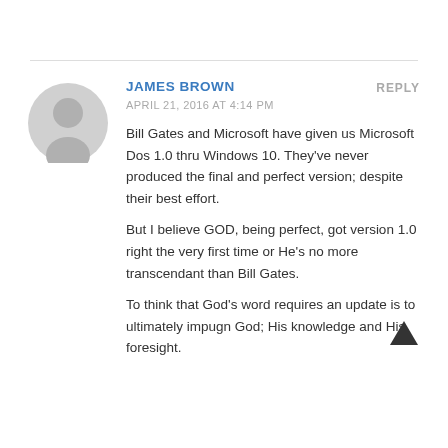JAMES BROWN
APRIL 21, 2016 AT 4:14 PM
REPLY
Bill Gates and Microsoft have given us Microsoft Dos 1.0 thru Windows 10. They've never produced the final and perfect version; despite their best effort.
But I believe GOD, being perfect, got version 1.0 right the very first time or He's no more transcendant than Bill Gates.
To think that God's word requires an update is to ultimately impugn God; His knowledge and His foresight.